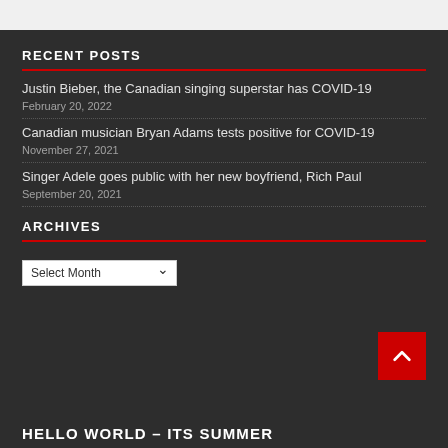RECENT POSTS
Justin Bieber, the Canadian singing superstar has COVID-19
February 20, 2022
Canadian musician Bryan Adams tests positive for COVID-19
November 27, 2021
Singer Adele goes public with her new boyfriend, Rich Paul
September 20, 2021
ARCHIVES
Select Month
HELLO WORLD – ITS SUMMER